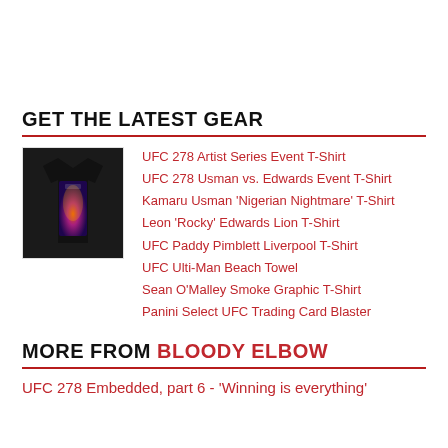GET THE LATEST GEAR
[Figure (photo): UFC 278 event t-shirt on a black background with fighter artwork in purple/orange tones]
UFC 278 Artist Series Event T-Shirt
UFC 278 Usman vs. Edwards Event T-Shirt
Kamaru Usman 'Nigerian Nightmare' T-Shirt
Leon 'Rocky' Edwards Lion T-Shirt
UFC Paddy Pimblett Liverpool T-Shirt
UFC Ulti-Man Beach Towel
Sean O'Malley Smoke Graphic T-Shirt
Panini Select UFC Trading Card Blaster
MORE FROM BLOODY ELBOW
UFC 278 Embedded, part 6 - 'Winning is everything'